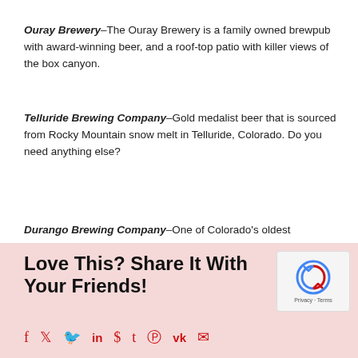Ouray Brewery–The Ouray Brewery is a family owned brewpub with award-winning beer, and a roof-top patio with killer views of the box canyon.
Telluride Brewing Company–Gold medalist beer that is sourced from Rocky Mountain snow melt in Telluride, Colorado. Do you need anything else?
Durango Brewing Company–One of Colorado's oldest breweries, and they use water born high in the San Juan Mountains of Southwest Colorado.
Love This? Share It With Your Friends!
f  ♥  ☿  in  ◎  t  ℗  vk  ✉